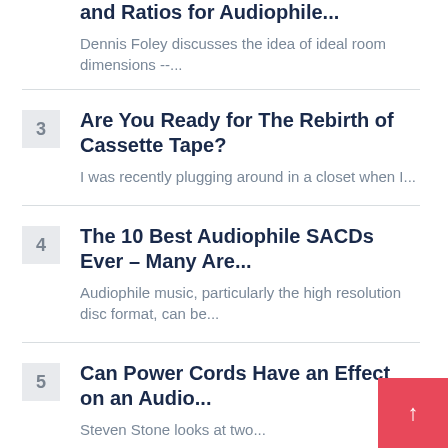and Ratios for Audiophile... Dennis Foley discusses the idea of ideal room dimensions --...
3 Are You Ready for The Rebirth of Cassette Tape? I was recently plugging around in a closet when I...
4 The 10 Best Audiophile SACDs Ever – Many Are... Audiophile music, particularly the high resolution disc format, can be...
5 Can Power Cords Have an Effect on an Audio... Steven Stone looks at two...